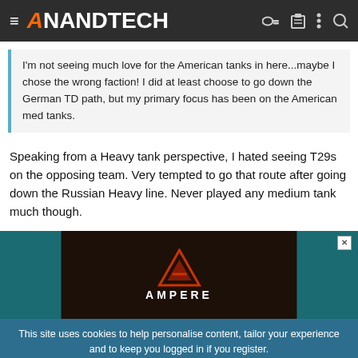AnandTech
I'm not seeing much love for the American tanks in here...maybe I chose the wrong faction! I did at least choose to go down the German TD path, but my primary focus has been on the American med tanks.
Speaking from a Heavy tank perspective, I hated seeing T29s on the opposing team. Very tempted to go that route after going down the Russian Heavy line. Never played any medium tank much though.
[Figure (advertisement): Ampere advertisement with triangular logo on dark background]
This site uses cookies to help personalise content, tailor your experience and to keep you logged in if you register. By continuing to use this site, you are consenting to our use of cookies.